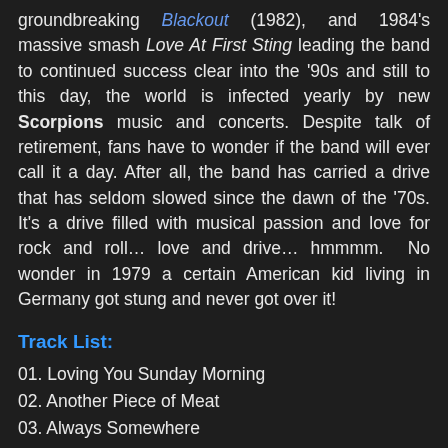groundbreaking Blackout (1982), and 1984's massive smash Love At First Sting leading the band to continued success clear into the '90s and still to this day, the world is infected yearly by new Scorpions music and concerts. Despite talk of retirement, fans have to wonder if the band will ever call it a day. After all, the band has carried a drive that has seldom slowed since the dawn of the '70s. It's a drive filled with musical passion and love for rock and roll… love and drive… hmmmm. No wonder in 1979 a certain American kid living in Germany got stung and never got over it!
Track List:
01. Loving You Sunday Morning
02. Another Piece of Meat
03. Always Somewhere